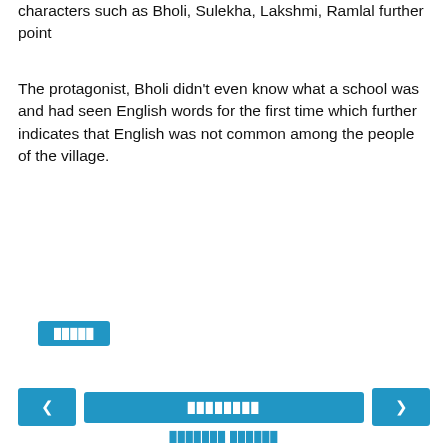characters such as Bholi, Sulekha, Lakshmi, Ramlal further point
The protagonist, Bholi didn't even know what a school was and had seen English words for the first time which further indicates that English was not common among the people of the village.
[Figure (other): Gray UI box with a blue button labeled with Hindi/placeholder text (answer button)]
[Figure (other): Navigation UI row with left arrow button, center blue button with placeholder text, and right arrow button]
Hindi/placeholder footer link text